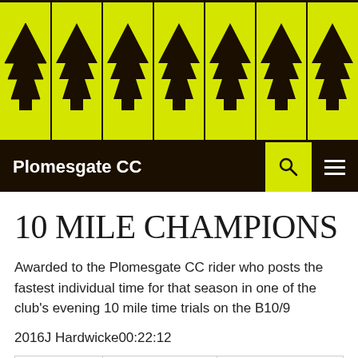[Figure (logo): Plomesgate CC header banner with yellow background and black tree icons arranged in two rows]
Plomesgate CC
10 MILE CHAMPIONS
Awarded to the Plomesgate CC rider who posts the fastest individual time for that season in one of the club's evening 10 mile time trials on the B10/9
2016J Hardwicke00:22:12
| Year | Winner | Time |
| --- | --- | --- |
| 1993 | B. Nye | 00:24:22 |